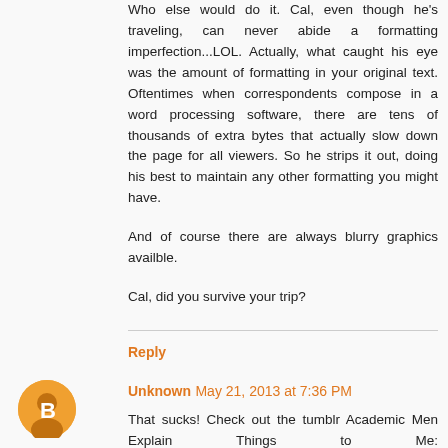Who else would do it. Cal, even though he's traveling, can never abide a formatting imperfection...LOL. Actually, what caught his eye was the amount of formatting in your original text. Oftentimes when correspondents compose in a word processing software, there are tens of thousands of extra bytes that actually slow down the page for all viewers. So he strips it out, doing his best to maintain any other formatting you might have.

And of course there are always blurry graphics availble.

Cal, did you survive your trip?
Reply
Unknown May 21, 2013 at 7:36 PM
That sucks! Check out the tumblr Academic Men Explain Things to Me: http://mansplained.tumblr.com/